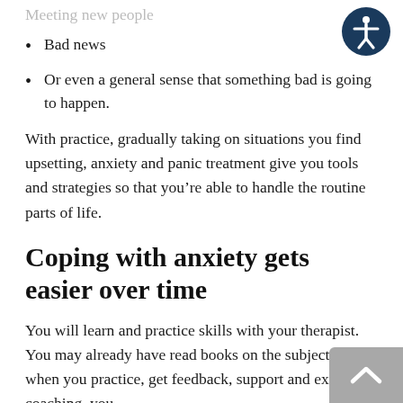Bad news
Or even a general sense that something bad is going to happen.
With practice, gradually taking on situations you find upsetting, anxiety and panic treatment give you tools and strategies so that you’re able to handle the routine parts of life.
Coping with anxiety gets easier over time
You will learn and practice skills with your therapist. You may already have read books on the subject but when you practice, get feedback, support and expert coaching, you